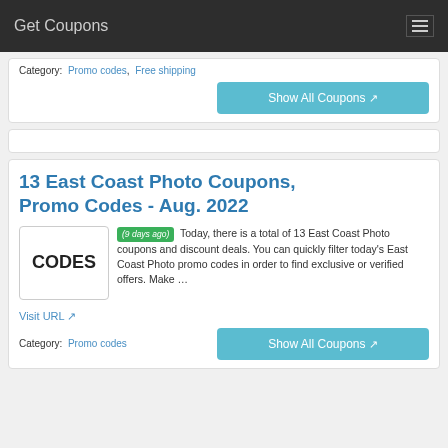Get Coupons
Category: Promo codes, Free shipping
Show All Coupons
13 East Coast Photo Coupons, Promo Codes - Aug. 2022
(9 days ago) Today, there is a total of 13 East Coast Photo coupons and discount deals. You can quickly filter today's East Coast Photo promo codes in order to find exclusive or verified offers. Make ...
Visit URL
Category: Promo codes
Show All Coupons